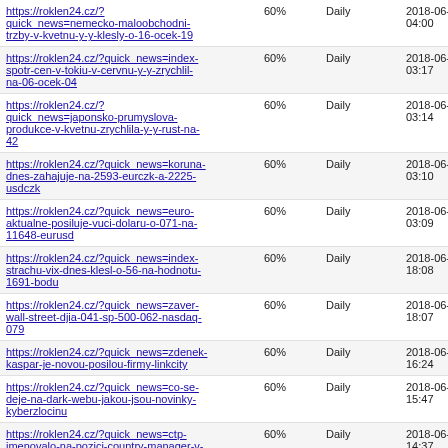| URL | Priority | Change Freq | Last Modified |
| --- | --- | --- | --- |
| https://roklen24.cz/?quick_news=nemecko-maloobchodni-trzby-v-kvetnu-y-y-klesly-o-16-ocek-19 | 60% | Daily | 2018-06-29 04:00 |
| https://roklen24.cz/?quick_news=index-spotr-cen-v-tokiu-v-cervnu-y-y-zrychlil-na-06-ocek-04 | 60% | Daily | 2018-06-29 03:17 |
| https://roklen24.cz/?quick_news=japonsko-prumyslova-produkce-v-kvetnu-zrychlila-y-y-rust-na-42 | 60% | Daily | 2018-06-29 03:14 |
| https://roklen24.cz/?quick_news=koruna-dnes-zahajuje-na-2593-eurczk-a-2225-usdczk | 60% | Daily | 2018-06-29 03:10 |
| https://roklen24.cz/?quick_news=euro-aktualne-posiluje-vuci-dolaru-o-071-na-11648-eurusd | 60% | Daily | 2018-06-29 03:09 |
| https://roklen24.cz/?quick_news=index-strachu-vix-dnes-klesl-o-56-na-hodnotu-1691-bodu | 60% | Daily | 2018-06-28 18:08 |
| https://roklen24.cz/?quick_news=zaver-wall-street-djia-041-sp-500-062-nasdaq-079 | 60% | Daily | 2018-06-28 18:07 |
| https://roklen24.cz/?quick_news=zdenek-kaspar-je-novou-posilou-firmy-linkcity | 60% | Daily | 2018-06-28 16:24 |
| https://roklen24.cz/?quick_news=co-se-deje-na-dark-webu-jakou-jsou-novinky-kyberzlocinu | 60% | Daily | 2018-06-28 15:47 |
| https://roklen24.cz/?quick_news=ctp-jmenovalo-na-pozici-country-manager-v-polsku-murawskou | 60% | Daily | 2018-06-28 14:37 |
| https://roklen24.cz/?quick_news=sit-verejneho-dobijeni-cez-hlasi-100-stanic-50-z-nich-je-rychlych | 60% | Daily | 2018-06-28 13:52 |